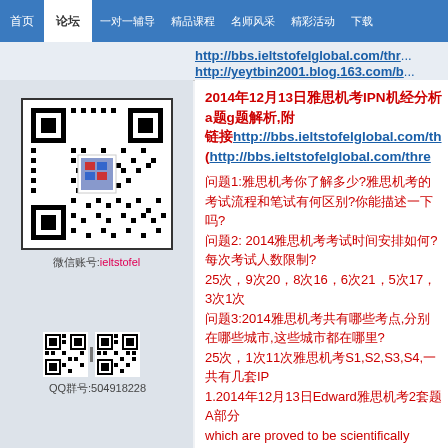Navigation bar with tabs: 首页, 论坛, 一对一辅导, 精品课程, 名师风采, 精彩活动, 下载
http://bbs.ieltstofelglobal.com/thr... / http://yeytbin2001.blog.163.com/b...
[Figure (other): QR code for ieltstofel website with label 微信账号:ieltstofel]
[Figure (other): Small QR code with label QQ群号:504918228]
2014年12月13日雅思机考IPN机经分析a题g题解析,附链接http://bbs.ieltstofelglobal.com/th...（http://bbs.ieltstofelglobal.com/thr...
问题1:雅思机考你了解多少?雅思机考的考试流程和笔试有何区别?你能描述一下吗?
问题2: 2014雅思机考考试时间安排如何?每次考试人数限制?25次，9次20，8次16，6次21，5次17，3次1次
问题3:2014雅思机考共有哪些考点,分别在哪些城市,这些城市都在哪里?25次，1次11次雅思机考S1,S2,S3,S4,一共有几套IPN
1.2014年12月13日Edward雅思机考2套题A部分 which are proved to be scientifically A题IPN共2套题的机经分析的部分, millions of tons图表题1980 1990 2000 雅思机考的, IPN雅思机考机经,